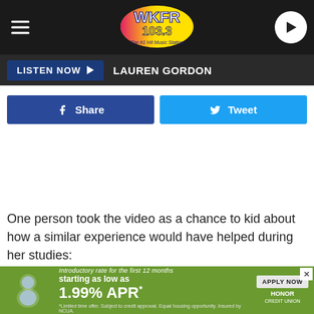[Figure (logo): WKFR 103.3 The #1 Hit Music Station radio station logo on dark navigation bar with hamburger menu and play button]
LISTEN NOW ▶  LAUREN GORDON
[Figure (screenshot): Facebook Share button (blue) and Twitter Tweet button (light blue) social sharing buttons]
One person took the video as a chance to kid about how a similar experience would have helped during her studies:
“ I had a wildlife management class at NMU where we
[Figure (screenshot): Honor Credit Union advertisement banner: Introductory rate for the first 12 months starting as low as 1.99% APR* with Apply Now button and Honor logo]